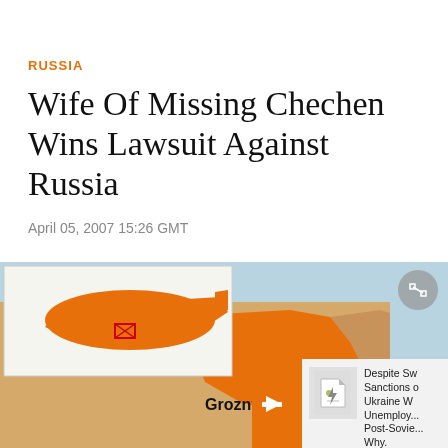RUSSIA
Wife Of Missing Chechen Wins Lawsuit Against Russia
April 05, 2007 15:26 GMT
[Figure (map): Map showing the Chechnya region in Russia with Grozny labeled, with a small inset showing Russia's location.]
Despite Sw... Sanctions o... Ukraine W... Unemploy... Post-Sovie... Why.